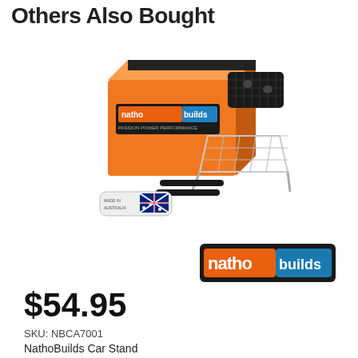Others Also Bought
[Figure (photo): Product photo of NathoBuilds Car Stand kit including orange branded box, black carbon-fiber style plate component, chrome wire stand, two black rods, and an Australian flag branded sticker/badge]
[Figure (logo): NathoBuilds brand logo with orange and blue text on dark background]
$54.95
SKU: NBCA7001
NathoBuilds Car Stand